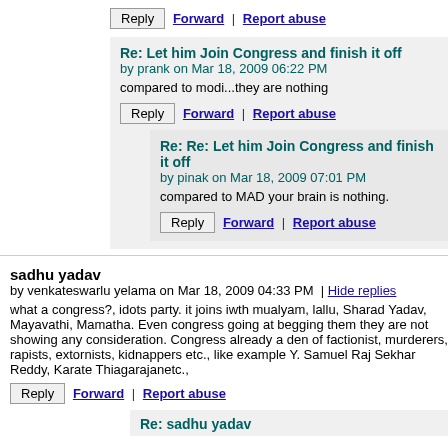Reply  Forward | Report abuse
Re: Let him Join Congress and finish it off
by prank on Mar 18, 2009 06:22 PM
compared to modi...they are nothing
Reply  Forward | Report abuse
Re: Re: Let him Join Congress and finish it off
by pinak on Mar 18, 2009 07:01 PM
compared to MAD your brain is nothing.
Reply  Forward | Report abuse
sadhu yadav
by venkateswarlu yelama on Mar 18, 2009 04:33 PM | Hide replies
what a congress?, idots party. it joins iwth mualyam, lallu, Sharad Yadav, Mayavathi, Mamatha. Even congress going at begging them they are not showing any consideration. Congress already a den of factionist, murderers, rapists, extornists, kidnappers etc., like example Y. Samuel Raj Sekhar Reddy, Karate Thiagarajanetc.,
Reply  Forward | Report abuse
Re: sadhu yadav